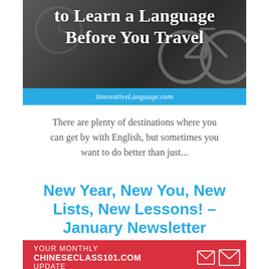[Figure (illustration): Dark banner image with text overlay reading 'to Learn a Language Before You Travel' and blue bar at bottom with 'InnovativeLanguage.com']
There are plenty of destinations where you can get by with English, but sometimes you want to do better than just...
New Year, New You, New Lists, New Lessons! – January Newsletter
[Figure (infographic): Red banner with white text: YOUR MONTHLY CHINESECLASS101.COM UPDATE, with envelope icons on the right]